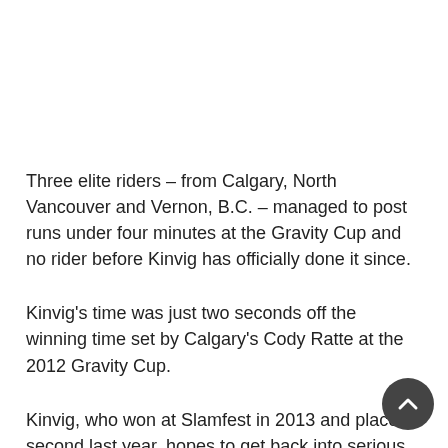Three elite riders – from Calgary, North Vancouver and Vernon, B.C. – managed to post runs under four minutes at the Gravity Cup and no rider before Kinvig has officially done it since.
Kinvig's time was just two seconds off the winning time set by Calgary's Cody Ratte at the 2012 Gravity Cup.
Kinvig, who won at Slamfest in 2013 and placed second last year, hopes to get back into serious downhill racing next year. He took time off after he suffered a concussion at the